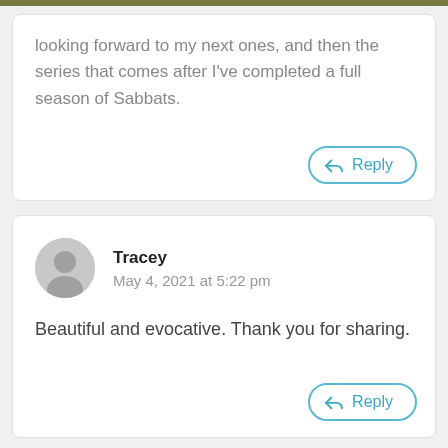looking forward to my next ones, and then the series that comes after I've completed a full season of Sabbats.
Reply
Tracey
May 4, 2021 at 5:22 pm
Beautiful and evocative. Thank you for sharing.
Reply